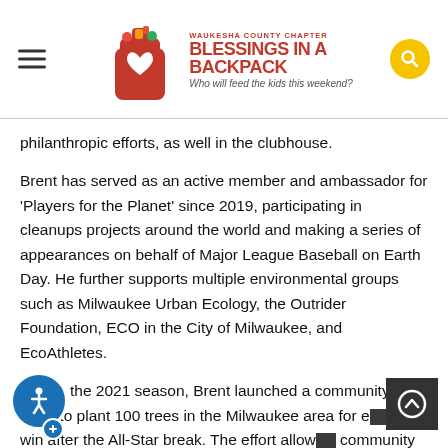Waukesha County Chapter Blessings in a Backpack — Who will feed the kids this weekend?
philanthropic efforts, as well in the clubhouse.
Brent has served as an active member and ambassador for 'Players for the Planet' since 2019, participating in cleanups projects around the world and making a series of appearances on behalf of Major League Baseball on Earth Day. He further supports multiple environmental groups such as Milwaukee Urban Ecology, the Outrider Foundation, ECO in the City of Milwaukee, and EcoAthletes.
During the 2021 season, Brent launched a community-wide effort to plant 100 trees in the Milwaukee area for every Brewers win after the All-Star break. The effort allowed community members to participate in planting and learning